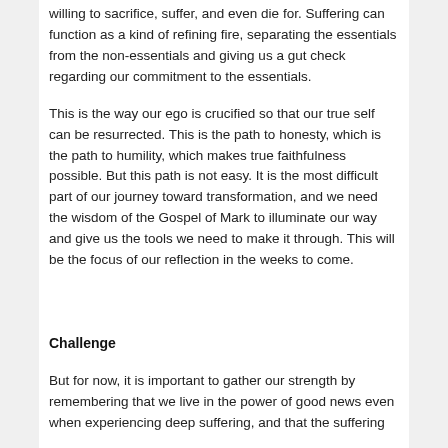willing to sacrifice, suffer, and even die for. Suffering can function as a kind of refining fire, separating the essentials from the non-essentials and giving us a gut check regarding our commitment to the essentials.
This is the way our ego is crucified so that our true self can be resurrected. This is the path to honesty, which is the path to humility, which makes true faithfulness possible. But this path is not easy. It is the most difficult part of our journey toward transformation, and we need the wisdom of the Gospel of Mark to illuminate our way and give us the tools we need to make it through. This will be the focus of our reflection in the weeks to come.
Challenge
But for now, it is important to gather our strength by remembering that we live in the power of good news even when experiencing deep suffering, and that the suffering